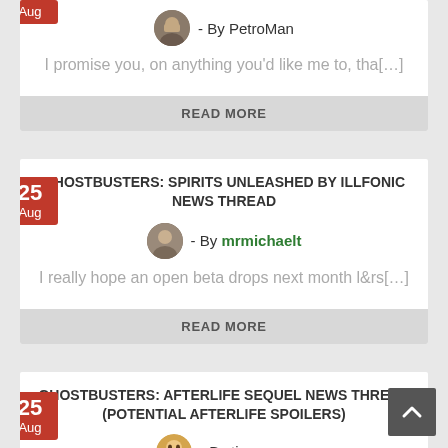- By PetroMan
I promise you, on anything you'd like me to, tha[…]
READ MORE
GHOSTBUSTERS: SPIRITS UNLEASHED BY ILLFONIC NEWS THREAD
- By mrmichaelt
I really hope an open beta drops next month l&rs[…]
READ MORE
GHOSTBUSTERS: AFTERLIFE SEQUEL NEWS THREAD (POTENTIAL AFTERLIFE SPOILERS)
- By timeware
Maybe someone from the l3 Help sees our posts. T[…]